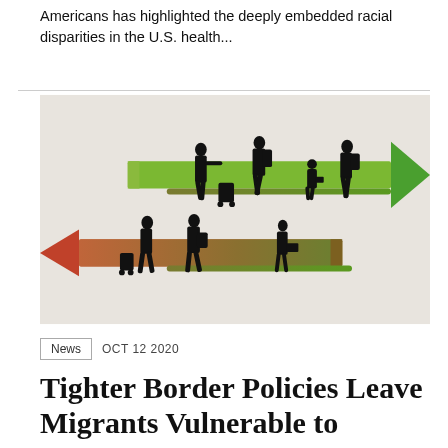Americans has highlighted the deeply embedded racial disparities in the U.S. health...
[Figure (illustration): Illustration showing silhouettes of migrants walking along two opposing arrows — a red/orange left-pointing arrow on the bottom and a green right-pointing arrow on the top, against a light textured background, symbolizing migration and border crossing.]
News   OCT 12 2020
Tighter Border Policies Leave Migrants Vulnerable to Effects of